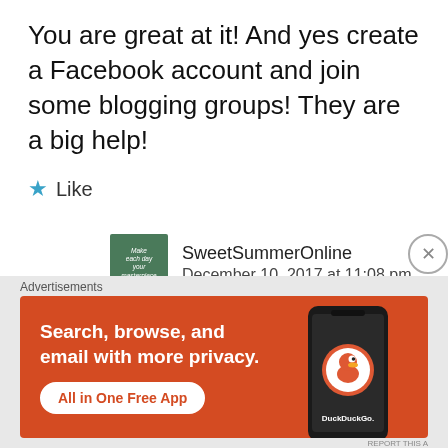You are great at it! And yes create a Facebook account and join some blogging groups! They are a big help!
★ Like
SweetSummerOnline
December 10, 2017 at 11:08 pm
[Figure (other): Advertisement banner for DuckDuckGo: Search, browse, and email with more privacy. All in One Free App. Shows a phone with DuckDuckGo logo.]